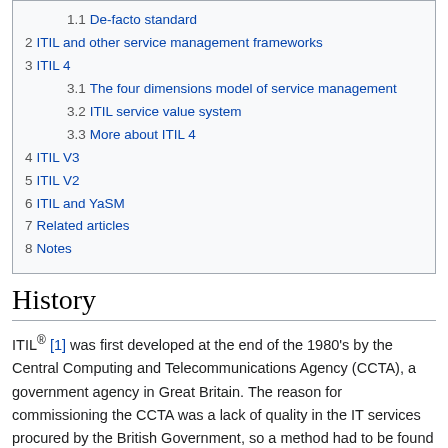1.1 De-facto standard
2 ITIL and other service management frameworks
3 ITIL 4
3.1 The four dimensions model of service management
3.2 ITIL service value system
3.3 More about ITIL 4
4 ITIL V3
5 ITIL V2
6 ITIL and YaSM
7 Related articles
8 Notes
History
ITIL® [1] was first developed at the end of the 1980's by the Central Computing and Telecommunications Agency (CCTA), a government agency in Great Britain. The reason for commissioning the CCTA was a lack of quality in the IT services procured by the British Government, so a method had to be found to achieve better quality in the IT services by the